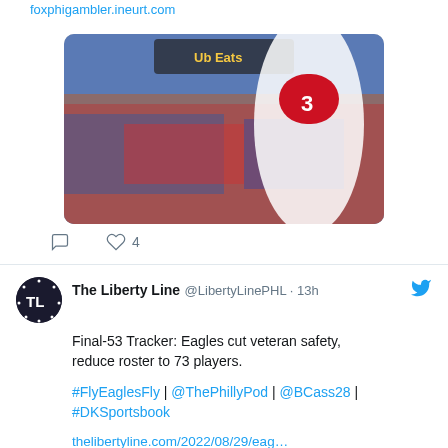foxphigambler.ineurt.com
[Figure (photo): Baseball stadium crowd with player wearing number 3 in foreground]
4 likes
The Liberty Line @LibertyLinePHL · 13h
Final-53 Tracker: Eagles cut veteran safety, reduce roster to 73 players.

#FlyEaglesFly | @ThePhillyPod | @BCass28 | #DKSportsbook

thelibertyline.com/2022/08/29/eag…
[Figure (photo): Football player with helmet, partial image at bottom of page]